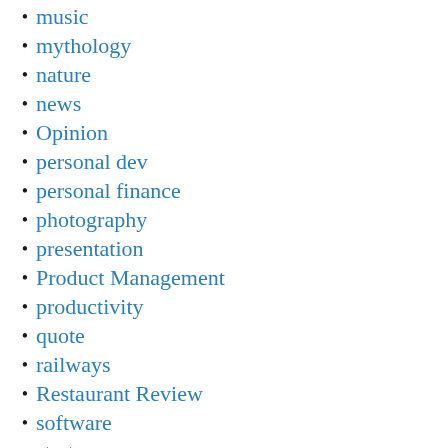music
mythology
nature
news
Opinion
personal dev
personal finance
photography
presentation
Product Management
productivity
quote
railways
Restaurant Review
software
startup